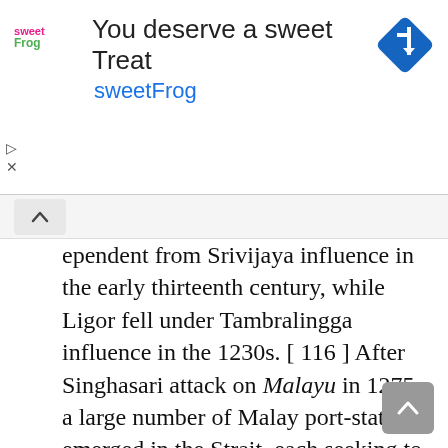[Figure (screenshot): Advertisement banner for sweetFrog frozen yogurt. Shows sweetFrog logo on left, text 'You deserve a sweet Treat' as headline, 'sweetFrog' in teal as subtitle, and a blue diamond-shaped navigation icon on the right.]
ependent from Srivijaya influence in the early thirteenth century, while Ligor fell under Tambralingga influence in the 1230s. [ 116 ] After Singhasari attack on Malayu in 1275, a large number of Malay port-states emerged in the Strait, each seeking to engage directly with foreign traders, with varying degrees of success. therefore, the development of an increasingly proactive naval strategy was not alone a reaction to the changing nature of interactions with major trading partners such as China and India, but besides as a consequence of Srivijaya 's declining power. [ 117 ]